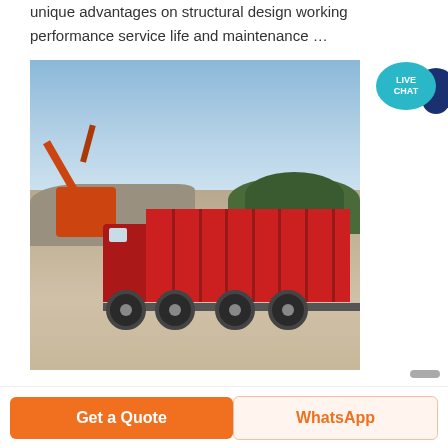unique advantages on structural design working performance service life and maintenance ...
[Figure (photo): A red dump truck loaded with rocks/rubble at a quarry or construction site, with an orange excavator in the background and trees on the horizon under a blue sky.]
[Figure (other): Live Chat button/widget — teal speech bubble with dark blue chat icon, labeled LIVE CHAT in white text.]
Get a Quote
WhatsApp